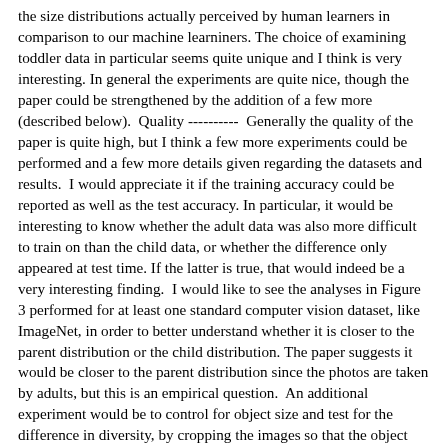the size distributions actually perceived by human learners in comparison to our machine learniners. The choice of examining toddler data in particular seems quite unique and I think is very interesting. In general the experiments are quite nice, though the paper could be strengthened by the addition of a few more (described below).  Quality ----------  Generally the quality of the paper is quite high, but I think a few more experiments could be performed and a few more details given regarding the datasets and results.  I would appreciate it if the training accuracy could be reported as well as the test accuracy. In particular, it would be interesting to know whether the adult data was also more difficult to train on than the child data, or whether the difference only appeared at test time. If the latter is true, that would indeed be a very interesting finding.  I would like to see the analyses in Figure 3 performed for at least one standard computer vision dataset, like ImageNet, in order to better understand whether it is closer to the parent distribution or the child distribution. The paper suggests it would be closer to the parent distribution since the photos are taken by adults, but this is an empirical question.  An additional experiment would be to control for object size and test for the difference in diversity, by cropping the images so that the object takes approximately the same amount of space in the image in both the child and adult datasets. Then, any difference in performance on the test set would be due to diversity in view, rather than size. If there isn't a difference in performance, then it suggests the main factor between adults and children is size, rather than diversity in